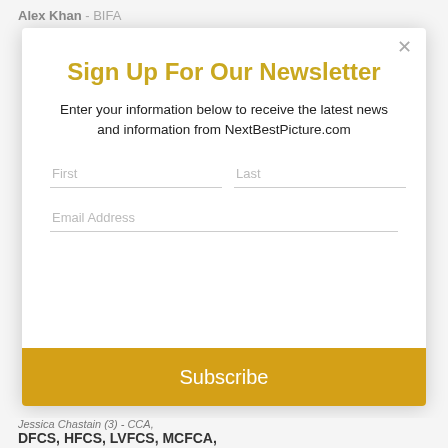Alex Khan - BIFA
Sign Up For Our Newsletter
Enter your information below to receive the latest news and information from NextBestPicture.com
Subscribe
Jessica Chastain (3) - CCA, DFCS, HFCS, LVFCS, MCFCA,